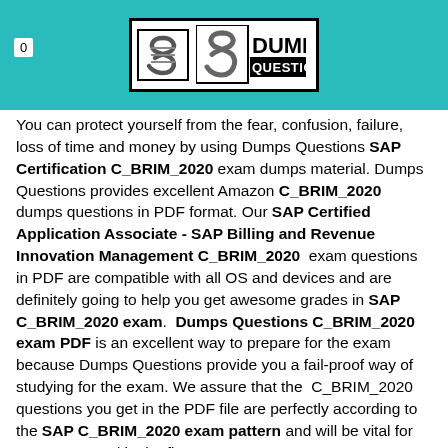0
[Figure (logo): DumpsQuestions logo with stylized S icon and bold text DUMPS QUESTIONS on teal background]
You can protect yourself from the fear, confusion, failure, loss of time and money by using Dumps Questions SAP Certification C_BRIM_2020 exam dumps material. Dumps Questions provides excellent Amazon C_BRIM_2020 dumps questions in PDF format. Our SAP Certified Application Associate - SAP Billing and Revenue Innovation Management C_BRIM_2020 exam questions in PDF are compatible with all OS and devices and are definitely going to help you get awesome grades in SAP C_BRIM_2020 exam. Dumps Questions C_BRIM_2020 exam PDF is an excellent way to prepare for the exam because Dumps Questions provide you a fail-proof way of studying for the exam. We assure that the C_BRIM_2020 questions you get in the PDF file are perfectly according to the SAP C_BRIM_2020 exam pattern and will be vital for you to succeed in the first attempt.